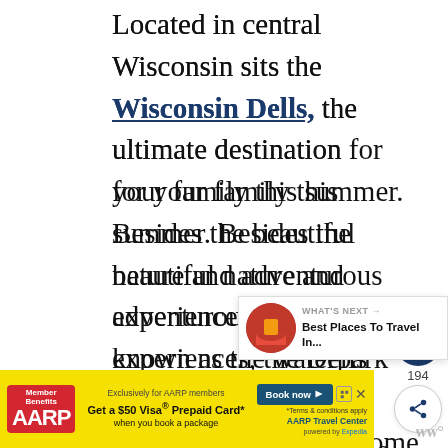Located in central Wisconsin sits the Wisconsin Dells, the ultimate destination for your family this summer. Besides the beautiful nature and adventurous experiences, the Dells is known as the waterpark capital of the world, featuring tons of awesome waterparks and great resorts.
If you're looking for the biggest and best, Noah's Ark Waterpark is the park to check out. It's actually America's largest waterpark, spanning 70 acres in the heart of the Dells. There are endless
[Figure (other): AARP advertisement banner: yellow background with AARP logo, offer for $50 Visa Prepaid Card when booking a package through AARP Travel Center powered by Expedia]